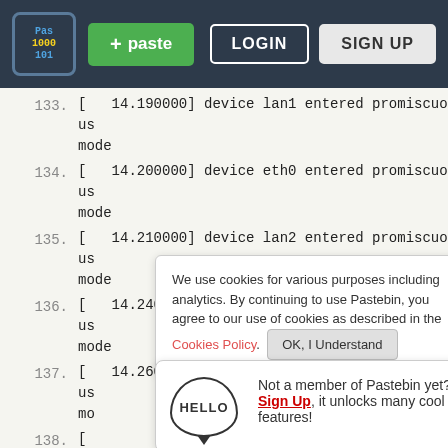Pastebin navigation bar with logo, + paste button, LOGIN and SIGN UP buttons
133. [   14.190000] device lan1 entered promiscuous mode
134. [   14.200000] device eth0 entered promiscuous mode
135. [   14.210000] device lan2 entered promiscuous mode
136. [   14.240000] device lan3 entered promiscuous mode
137. [   14.260000] device lan4 entered promiscuous mo
138. [  ...  B0
139. [  
 to
140. [  
 @
141. [   19.130000] cfg80211:  (2402000 KHz - 2482000
We use cookies for various purposes including analytics. By continuing to use Pastebin, you agree to our use of cookies as described in the Cookies Policy.   OK, I Understand
Not a member of Pastebin yet? Sign Up, it unlocks many cool features!